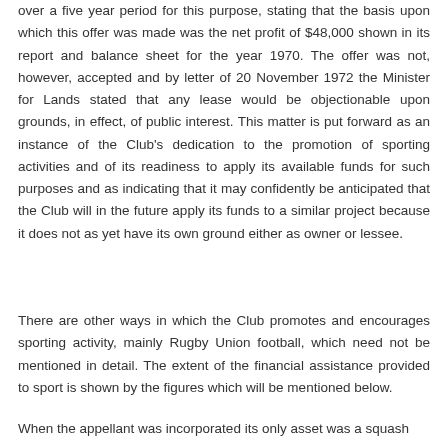over a five year period for this purpose, stating that the basis upon which this offer was made was the net profit of $48,000 shown in its report and balance sheet for the year 1970. The offer was not, however, accepted and by letter of 20 November 1972 the Minister for Lands stated that any lease would be objectionable upon grounds, in effect, of public interest. This matter is put forward as an instance of the Club's dedication to the promotion of sporting activities and of its readiness to apply its available funds for such purposes and as indicating that it may confidently be anticipated that the Club will in the future apply its funds to a similar project because it does not as yet have its own ground either as owner or lessee.
There are other ways in which the Club promotes and encourages sporting activity, mainly Rugby Union football, which need not be mentioned in detail. The extent of the financial assistance provided to sport is shown by the figures which will be mentioned below.
When the appellant was incorporated its only asset was a squash